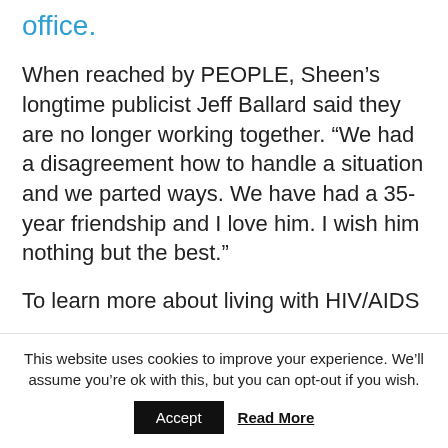office.
When reached by PEOPLE, Sheen's longtime publicist Jeff Ballard said they are no longer working together. “We had a disagreement how to handle a situation and we parted ways. We have had a 35-year friendship and I love him. I wish him nothing but the best.”
To learn more about living with HIV/AIDS
This website uses cookies to improve your experience. We’ll assume you’re ok with this, but you can opt-out if you wish.
Accept
Read More